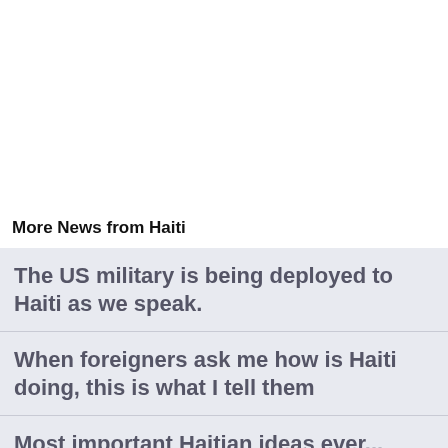More News from Haiti
The US military is being deployed to Haiti as we speak.
When foreigners ask me how is Haiti doing, this is what I tell them
Most important Haitian ideas ever...